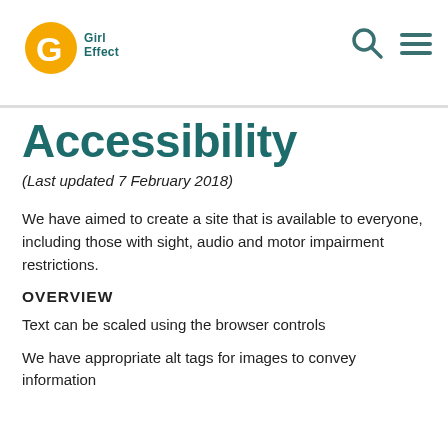Girl Effect
Accessibility
(Last updated 7 February 2018)
We have aimed to create a site that is available to everyone, including those with sight, audio and motor impairment restrictions.
OVERVIEW
Text can be scaled using the browser controls
We have appropriate alt tags for images to convey information